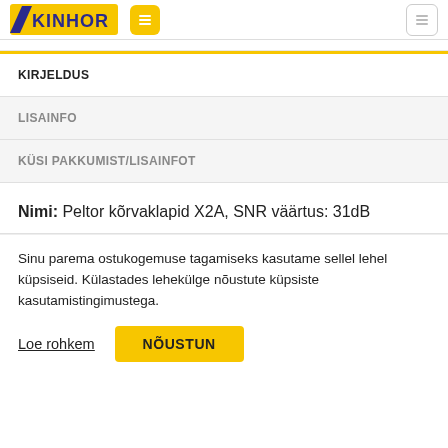KINHOR
KIRJELDUS
LISAINFO
KÜSI PAKKUMIST/LISAINFOT
Nimi: Peltor kõrvaklapid X2A, SNR väärtus: 31dB
Sinu parema ostukogemuse tagamiseks kasutame sellel lehel küpsiseid. Külastades lehekülge nõustute küpsiste kasutamistingimustega.
Loe rohkem
NÕUSTUN